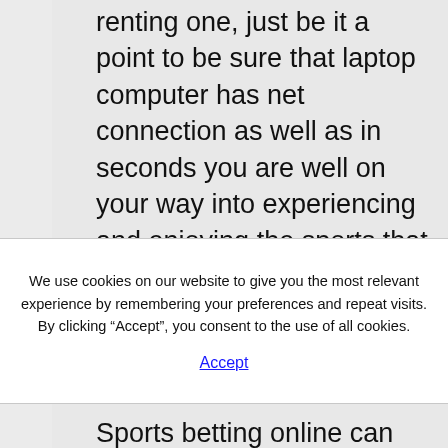renting one, just be it a point to be sure that laptop computer has net connection as well as in seconds you are well on your way into experiencing and enjoying the sports that you wish to place your bets on.
We use cookies on our website to give you the most relevant experience by remembering your preferences and repeat visits. By clicking “Accept”, you consent to the use of all cookies.
Accept
Sports betting online can feature several